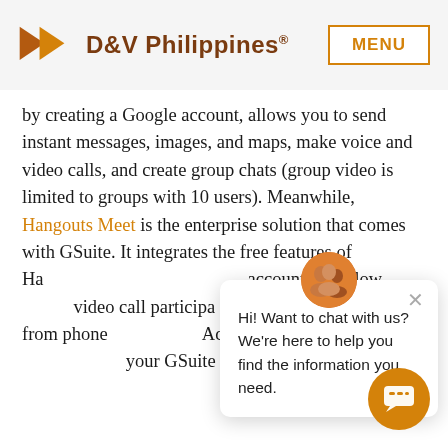D&V Philippines® | MENU
by creating a Google account, allows you to send instant messages, images, and maps, make voice and video calls, and create group chats (group video is limited to groups with 10 users). Meanwhile, Hangouts Meet is the enterprise solution that comes with GSuite. It integrates the free features of Hangouts with a Google account and allows up to 250 video call participants, the ability to dial-in from phones, and more. Additional features are dependent on your GSuite subscription.
[Figure (screenshot): Chat popup widget with avatar photo of people and message: Hi! Want to chat with us? We're here to help you find the information you need. Close (x) button visible. Orange chat bubble button in bottom-right corner.]